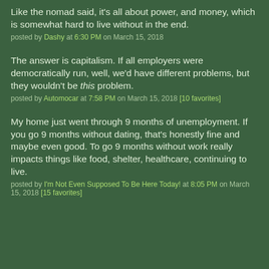Like the nomad said, it's all about power, and money, which is somewhat hard to live without in the end.
posted by Dashy at 6:30 PM on March 15, 2018
The answer is capitalism. If all employers were democratically run, well, we'd have different problems, but they wouldn't be this problem.
posted by Automocar at 7:58 PM on March 15, 2018 [10 favorites]
My home just went through 9 months of unemployment. If you go 9 months without dating, that's honestly fine and maybe even good. To go 9 months without work really impacts things like food, shelter, healthcare, continuing to live.
posted by I'm Not Even Supposed To Be Here Today! at 8:05 PM on March 15, 2018 [15 favorites]